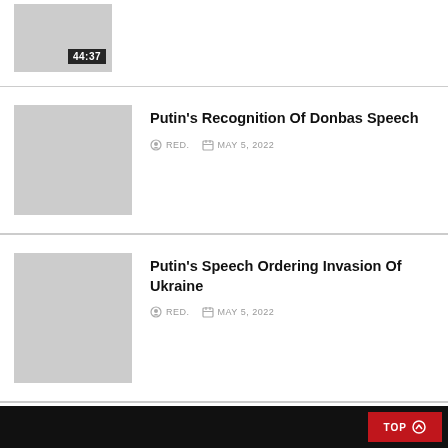[Figure (screenshot): Video thumbnail placeholder showing duration 44:37]
[Figure (screenshot): Article thumbnail placeholder for Putin's Recognition Of Donbas Speech]
Putin's Recognition Of Donbas Speech
RED.   MAY 5, 2022
[Figure (screenshot): Article thumbnail placeholder for Putin's Speech Ordering Invasion Of Ukraine]
Putin's Speech Ordering Invasion Of Ukraine
RED.   MAY 5, 2022
TOP ↑